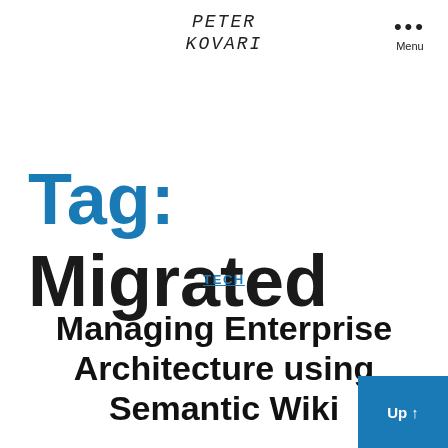PETER KOVARI
Menu
Tag: Migrated
TECH
Managing Enterprise Architecture using Semantic Wiki